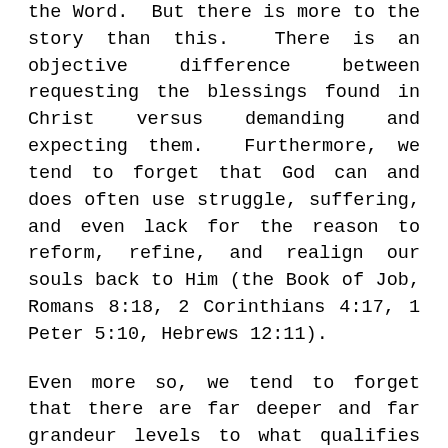the Word.  But there is more to the story than this.  There is an objective difference between requesting the blessings found in Christ versus demanding and expecting them.  Furthermore, we tend to forget that God can and does often use struggle, suffering, and even lack for the reason to reform, refine, and realign our souls back to Him (the Book of Job, Romans 8:18, 2 Corinthians 4:17, 1 Peter 5:10, Hebrews 12:11).
Even more so, we tend to forget that there are far deeper and far grandeur levels to what qualifies "blessings" than physical safety and success.  They are richer, higher, and more transcendent than just our earthy ends.  That should, therefore, be our central focus when we consider "blessings."  Jesus Himself taught it like this,